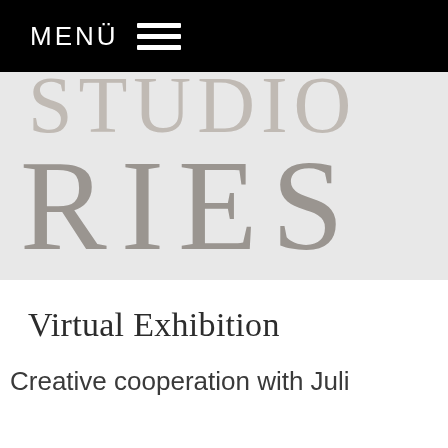MENÜ ☰
[Figure (logo): Partial logo text showing 'STUDIO' clipped at top and 'RIES' large text below, in muted taupe/gray tones on light gray background]
Virtual Exhibition
Creative cooperation with Juli